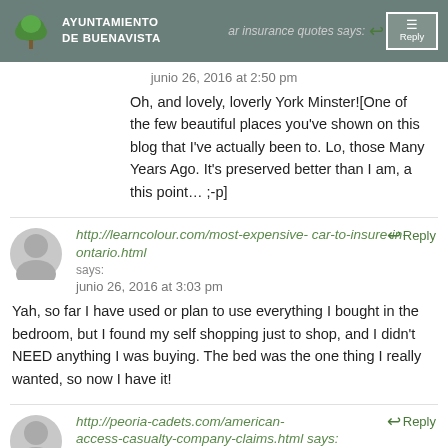AYUNTAMIENTO DE BUENAVISTA
car insurance quotes says: junio 26, 2016 at 2:50 pm
Oh, and lovely, loverly York Minster![One of the few beautiful places you've shown on this blog that I've actually been to. Lo, those Many Years Ago. It's preserved better than I am, a this point… ;-p]
http://learncolour.com/most-expensive-car-to-insure-in-ontario.html says: junio 26, 2016 at 3:03 pm
Yah, so far I have used or plan to use everything I bought in the bedroom, but I found my self shopping just to shop, and I didn't NEED anything I was buying. The bed was the one thing I really wanted, so now I have it!
http://peoria-cadets.com/american-